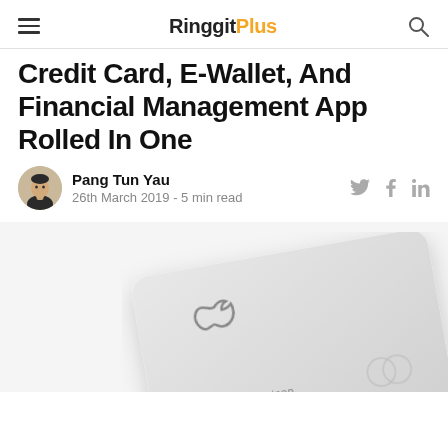RinggitPlus
Credit Card, E-Wallet, And Financial Management App Rolled In One
Pang Tun Yau
26th March 2019 - 5 min read
[Figure (photo): An Apple Card (titanium credit card) with the Apple logo engraved and the name 'Marisa Robertson' printed on it, shown at an angle on a light background.]